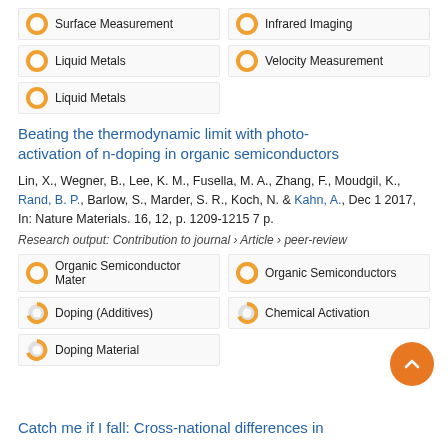100% Surface Measurement
100% Infrared Imaging
100% Liquid Metals
100% Velocity Measurement
100% Liquid Metals
Beating the thermodynamic limit with photo-activation of n-doping in organic semiconductors
Lin, X., Wegner, B., Lee, K. M., Fusella, M. A., Zhang, F., Moudgil, K., Rand, B. P., Barlow, S., Marder, S. R., Koch, N. & Kahn, A., Dec 1 2017, In: Nature Materials. 16, 12, p. 1209-1215 7 p.
Research output: Contribution to journal › Article › peer-review
100% Organic Semiconductor Mater
69% Organic Semiconductors
76% Doping (Additives)
69% Chemical Activation
60% Doping Material
Catch me if I fall: Cross-national differences in